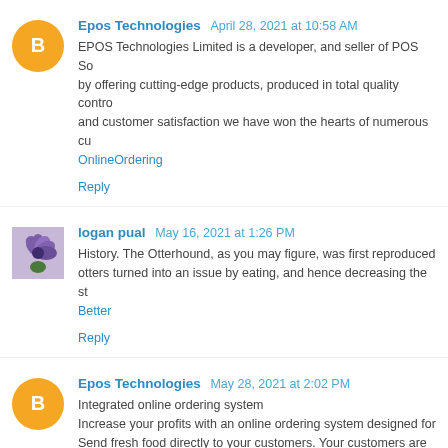Epos Technologies  April 28, 2021 at 10:58 AM
EPOS Technologies Limited is a developer, and seller of POS So by offering cutting-edge products, produced in total quality contro and customer satisfaction we have won the hearts of numerous cu OnlineOrdering
Reply
logan pual  May 16, 2021 at 1:26 PM
History. The Otterhound, as you may figure, was first reproduced otters turned into an issue by eating, and hence decreasing the st Better
Reply
Epos Technologies  May 28, 2021 at 2:02 PM
Integrated online ordering system Increase your profits with an online ordering system designed for Send fresh food directly to your customers. Your customers are m their leisure, rather than being rushed into a decision while stan provides you with everything you need to generate new revenue s to make it easy for your customers to do 'click and collect' p